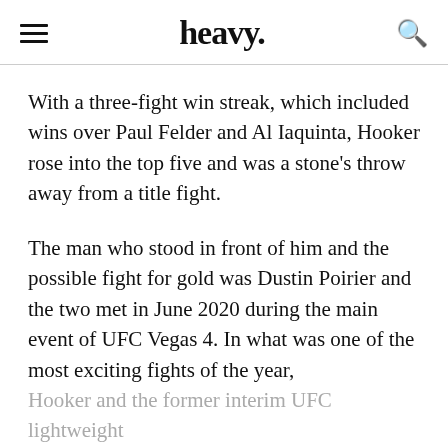heavy.
With a three-fight win streak, which included wins over Paul Felder and Al Iaquinta, Hooker rose into the top five and was a stone’s throw away from a title fight.
The man who stood in front of him and the possible fight for gold was Dustin Poirier and the two met in June 2020 during the main event of UFC Vegas 4. In what was one of the most exciting fights of the year, Hooker and the former interim UFC lightweight champion went tit for tat in an exhausting war that